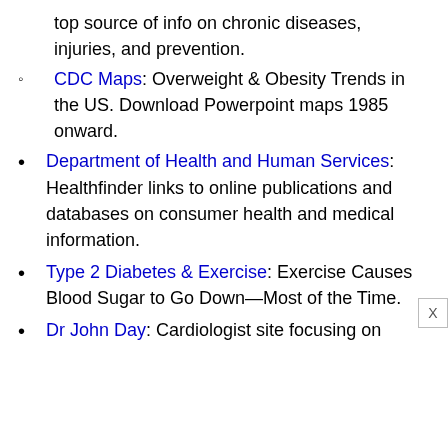top source of info on chronic diseases, injuries, and prevention.
CDC Maps: Overweight & Obesity Trends in the US. Download Powerpoint maps 1985 onward.
Department of Health and Human Services: Healthfinder links to online publications and databases on consumer health and medical information.
Type 2 Diabetes & Exercise: Exercise Causes Blood Sugar to Go Down—Most of the Time.
Dr John Day: Cardiologist site focusing on lifestyle changes for improved health.